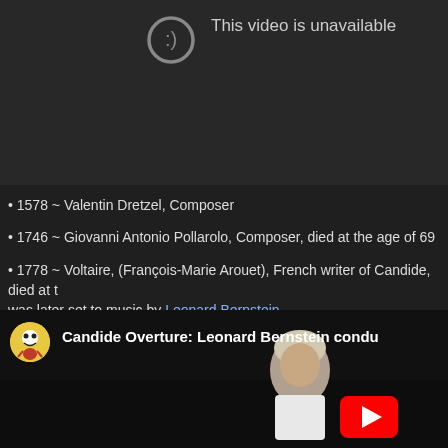[Figure (screenshot): YouTube video unavailable placeholder with grey circle emoji icon and text 'This video is unavailable']
• 1578 ~ Valentin Dretzel, Composer
• 1746 ~ Giovanni Antonio Pollarolo, Composer, died at the age of 69
• 1778 ~ Voltaire, (François-Marie Arouet), French writer of Candide, died at t... was later set to music by Leonard Bernstein
[Figure (screenshot): YouTube video thumbnail for 'Candide Overture: Leonard Bernstein condu...' showing an elderly conductor with audience in background and YouTube play button]